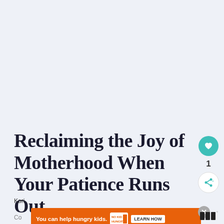Reclaiming the Joy of Motherhood When Your Patience Runs Out
Kori
[Figure (infographic): Ad banner: orange background with text 'You can help hungry kids.' and No Kid Hungry logo, plus a 'LEARN HOW' button. Close button (X) at top right of ad.]
Co...
[Figure (logo): Bottom right: three black squares logo followed by degree symbol, likely a website logo]